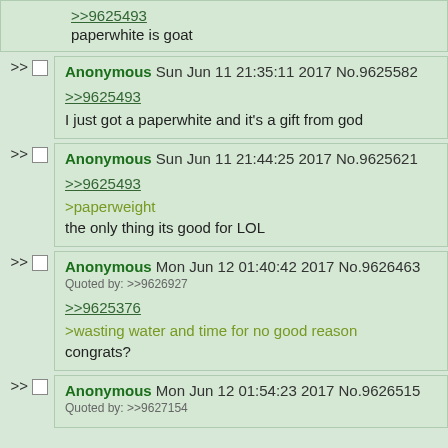>>9625493
paperwhite is goat
Anonymous Sun Jun 11 21:35:11 2017 No.9625582
>>9625493
I just got a paperwhite and it's a gift from god
Anonymous Sun Jun 11 21:44:25 2017 No.9625621
>>9625493
>paperweight
the only thing its good for LOL
Anonymous Mon Jun 12 01:40:42 2017 No.9626463
Quoted by: >>9626927
>>9625376
>wasting water and time for no good reason
congrats?
Anonymous Mon Jun 12 01:54:23 2017 No.9626515
Quoted by: >>9627154